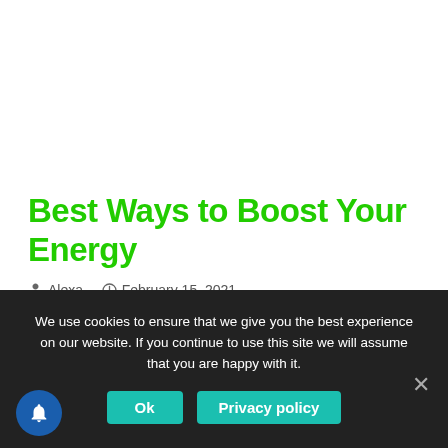Best Ways to Boost Your Energy
Alexa  -  February 15, 2021  -  Healthy Mind and Body  -  0 Comments
We use cookies to ensure that we give you the best experience on our website. If you continue to use this site we will assume that you are happy with it.